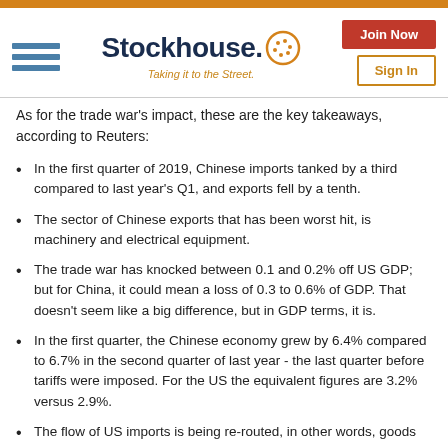Stockhouse. Taking it to the Street.
As for the trade war's impact, these are the key takeaways, according to Reuters:
In the first quarter of 2019, Chinese imports tanked by a third compared to last year's Q1, and exports fell by a tenth.
The sector of Chinese exports that has been worst hit, is machinery and electrical equipment.
The trade war has knocked between 0.1 and 0.2% off US GDP; but for China, it could mean a loss of 0.3 to 0.6% of GDP. That doesn't seem like a big difference, but in GDP terms, it is.
In the first quarter, the Chinese economy grew by 6.4% compared to 6.7% in the second quarter of last year - the last quarter before tariffs were imposed. For the US the equivalent figures are 3.2% versus 2.9%.
The flow of US imports is being re-routed, in other words, goods